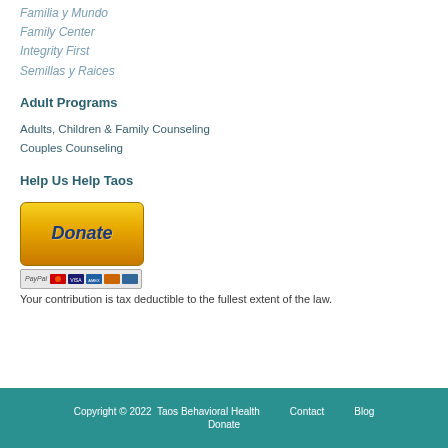Familia y Mundo
Family Center
Integrity First
Semillas y Raices
Adult Programs
Adults, Children & Family Counseling
Couples Counseling
Help Us Help Taos
[Figure (other): PayPal Donate button with credit card icons below]
Your contribution is tax deductible to the fullest extent of the law.
Copyright © 2022  Taos Behavioral Health    Contact    Blog    Donate